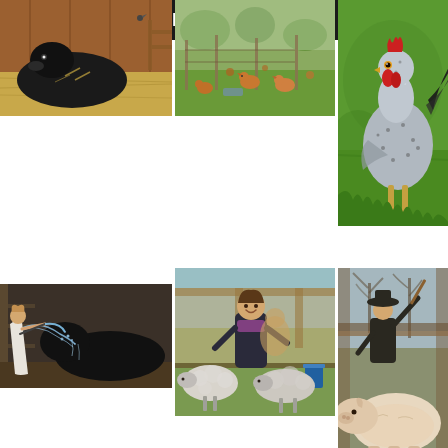RIVIERA BUZZ
[Figure (photo): Black cow/buffalo lying in hay in a barn with wooden walls]
[Figure (photo): Chickens and roosters roaming in a green farm field with fencing]
[Figure (photo): Large speckled rooster with red comb standing on green grass]
[Figure (photo): Woman in white dress hosing down a large black animal in a barn]
[Figure (photo): Woman in dark coat smiling with sheep in a farm enclosure]
[Figure (photo): Person with hat near a large white/cream pig in a wooden barn structure]